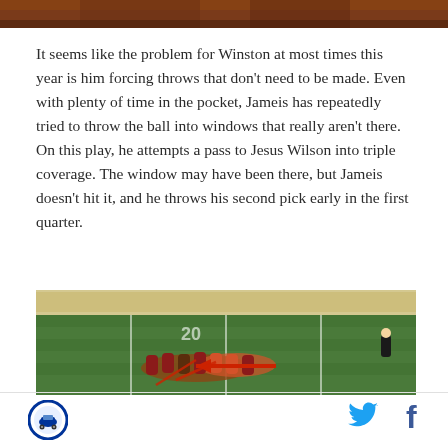[Figure (photo): Top portion of an athlete photo, cropped, showing jersey in dark maroon/brown colors]
It seems like the problem for Winston at most times this year is him forcing throws that don't need to be made. Even with plenty of time in the pocket, Jameis has repeatedly tried to throw the ball into windows that really aren't there. On this play, he attempts a pass to Jesus Wilson into triple coverage. The window may have been there, but Jameis doesn't hit it, and he throws his second pick early in the first quarter.
[Figure (photo): Football field screenshot showing players on a grass field, with a red arrow overlay pointing left indicating the direction of a play. The field shows yard line markings and a crowd in the background.]
[Figure (logo): Circular logo with blue border, white background, featuring a sports mascot illustration]
[Figure (logo): Twitter bird icon in blue]
[Figure (logo): Facebook f icon in dark blue]